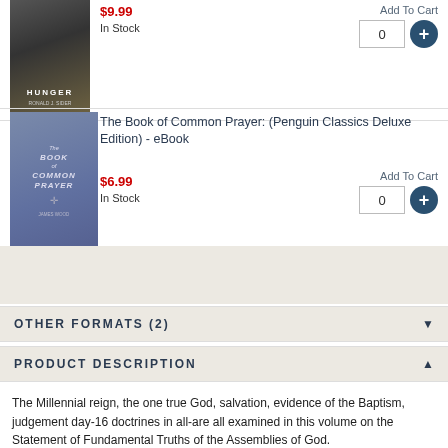[Figure (illustration): Book cover for Hunger by Ronald J. Sider]
$9.99
In Stock
Add To Cart
0
[Figure (illustration): Book cover for The Book of Common Prayer Penguin Classics Deluxe Edition by James Wood]
The Book of Common Prayer: (Penguin Classics Deluxe Edition) - eBook
$6.99
In Stock
Add To Cart
0
OTHER FORMATS (2)
PRODUCT DESCRIPTION
The Millennial reign, the one true God, salvation, evidence of the Baptism, judgement day-16 doctrines in all-are all examined in this volume on the Statement of Fundamental Truths of the Assemblies of God.